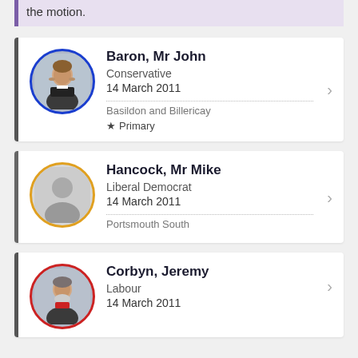the motion.
Baron, Mr John | Conservative | 14 March 2011 | Basildon and Billericay | Primary
Hancock, Mr Mike | Liberal Democrat | 14 March 2011 | Portsmouth South
Corbyn, Jeremy | Labour | 14 March 2011